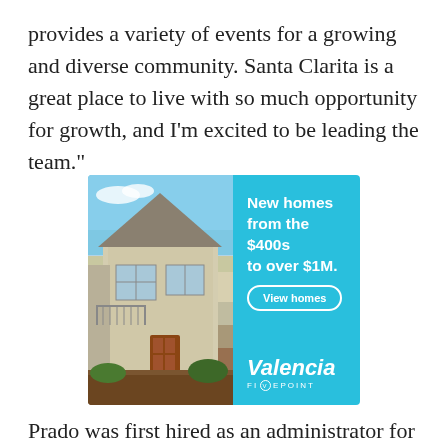provides a variety of events for a growing and diverse community. Santa Clarita is a great place to live with so much opportunity for growth, and I’m excited to be leading the team.”
[Figure (photo): Advertisement for Valencia Fivepoint new homes. Left half shows a modern two-story house with gray siding and large windows. Right half has a cyan/turquoise background with white bold text reading 'New homes from the $400s to over $1M.' and a 'View homes' button. Bottom right shows the Valencia Fivepoint logo.]
Prado was first hired as an administrator for the